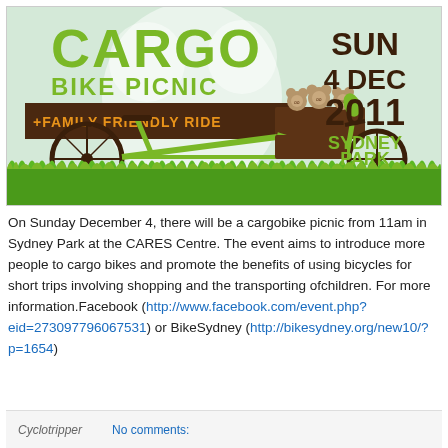[Figure (illustration): Cargo Bike Picnic + Family Friendly Ride event poster. Green and brown illustrated poster featuring a cargo bicycle with three teddy bears in the cargo box, large green text reading CARGO BIKE PICNIC, brown banner reading +FAMILY FRIENDLY RIDE in orange text, and date/location: SUN 4 DEC 2011 SYDNEY PARK in dark brown text. Green grass illustrated at bottom.]
On Sunday December 4, there will be a cargobike picnic from 11am in Sydney Park at the CARES Centre. The event aims to introduce more people to cargo bikes and promote the benefits of using bicycles for short trips involving shopping and the transporting ofchildren. For more information.Facebook (http://www.facebook.com/event.php?eid=273097796067531) or BikeSydney (http://bikesydney.org/new10/?p=1654)
Cyclotripper    No comments: